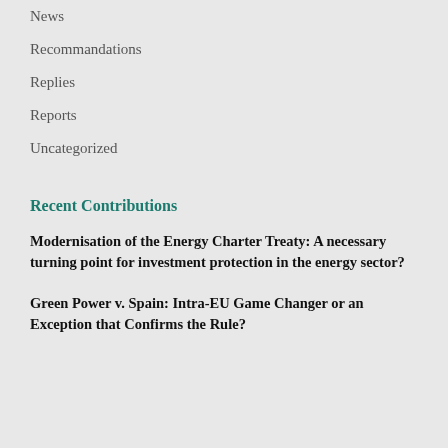News
Recommandations
Replies
Reports
Uncategorized
Recent Contributions
Modernisation of the Energy Charter Treaty: A necessary turning point for investment protection in the energy sector?
Green Power v. Spain: Intra-EU Game Changer or an Exception that Confirms the Rule?